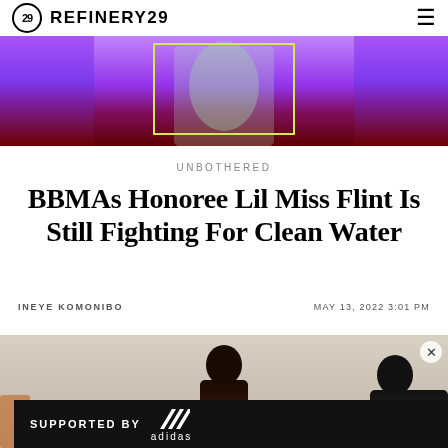REFINERY29
[Figure (photo): Hero banner image showing a person in a green top and denim jacket against a purple and dark red background with a yellow rectangular outline overlay]
UNBOTHERED
BBMAs Honoree Lil Miss Flint Is Still Fighting For Clean Water
INEYE KOMONIBO    MAY 13, 2022 3:01 PM
[Figure (photo): Partial photo of a person, with an advertisement banner overlay reading SUPPORTED BY adidas]